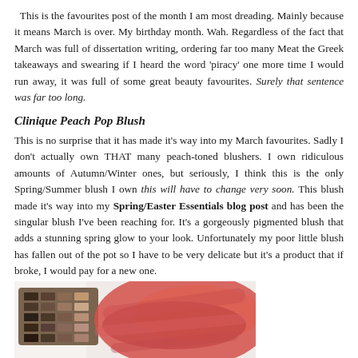This is the favourites post of the month I am most dreading. Mainly because it means March is over. My birthday month. Wah. Regardless of the fact that March was full of dissertation writing, ordering far too many Meat the Greek takeaways and swearing if I heard the word 'piracy' one more time I would run away, it was full of some great beauty favourites. Surely that sentence was far too long.
Clinique Peach Pop Blush
This is no surprise that it has made it's way into my March favourites. Sadly I don't actually own THAT many peach-toned blushers. I own ridiculous amounts of Autumn/Winter ones, but seriously, I think this is the only Spring/Summer blush I own this will have to change very soon. This blush made it's way into my Spring/Easter Essentials blog post and has been the singular blush I've been reaching for. It's a gorgeously pigmented blush that adds a stunning spring glow to your look. Unfortunately my poor little blush has fallen out of the pot so I have to be very delicate but it's a product that if broke, I would pay for a new one.
[Figure (photo): Photo of a makeup palette on the left and a peach/red blush swatch or product on the right, against a light background.]